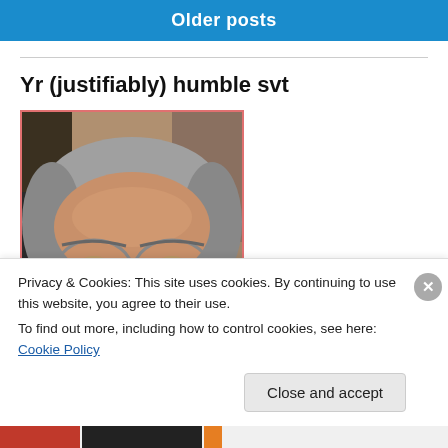Older posts
Yr (justifiably) humble svt
[Figure (photo): Close-up photo of an older man with gray hair wearing metal-framed aviator glasses, looking directly at the camera. The photo has a pinkish-red border.]
Privacy & Cookies: This site uses cookies. By continuing to use this website, you agree to their use.
To find out more, including how to control cookies, see here: Cookie Policy
Close and accept